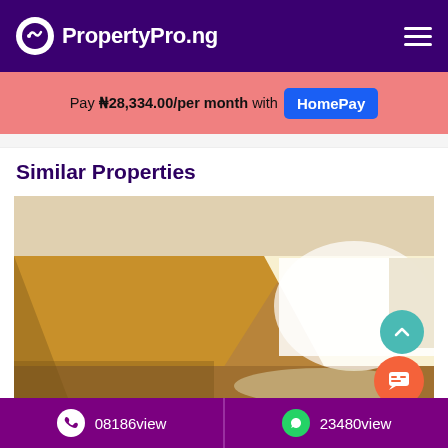PropertyPro.ng
Pay ₦28,334.00/per month with HomePay
Similar Properties
[Figure (photo): Interior photo of an empty room with tan/brown walls, white ceiling, and bright windows letting in sunlight on the right side.]
08186view
23480view